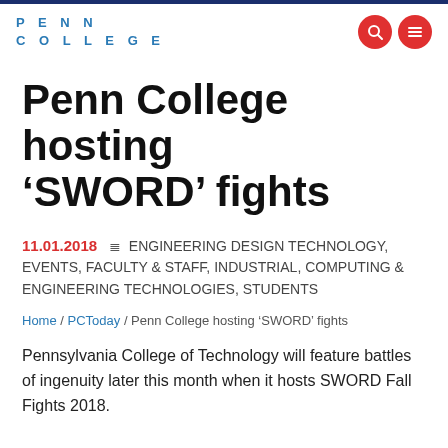PENN COLLEGE
Penn College hosting ‘SWORD’ fights
11.01.2018  ≡ ENGINEERING DESIGN TECHNOLOGY, EVENTS, FACULTY & STAFF, INDUSTRIAL, COMPUTING & ENGINEERING TECHNOLOGIES, STUDENTS
Home / PCToday / Penn College hosting ‘SWORD’ fights
Pennsylvania College of Technology will feature battles of ingenuity later this month when it hosts SWORD Fall Fights 2018.